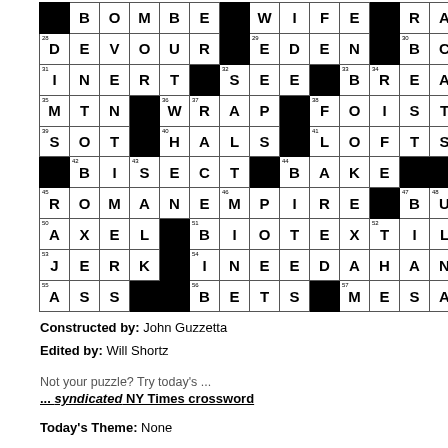[Figure (other): Crossword puzzle grid showing partial solution with filled letters and black squares. Rows contain: BOMBE/WIFE/RAW, DEVOUR/EDEN/BCE, INERT/SEE/BREAD, MTN/WRAP/FOISTS, SOT/HALS/LOFTS, BISECT/BAKE, ROMANEMPIRE/BUB, AXEL/BIOTEXTILE, JERK/INEEDAHAND, ASS/BETS/MESAS]
Constructed by: John Guzzetta
Edited by: Will Shortz
Not your puzzle? Try today's ...
... syndicated NY Times crossword
Today's Theme: None